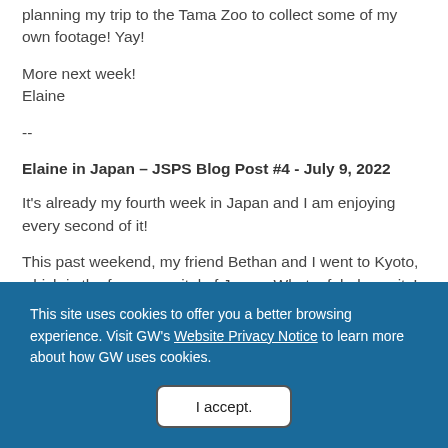planning my trip to the Tama Zoo to collect some of my own footage! Yay!
More next week!
Elaine
--
Elaine in Japan – JSPS Blog Post #4 - July 9, 2022
It's already my fourth week in Japan and I am enjoying every second of it!
This past weekend, my friend Bethan and I went to Kyoto, which is the former capital of Japan. What a fabulous city!
This site uses cookies to offer you a better browsing experience. Visit GW's Website Privacy Notice to learn more about how GW uses cookies.
I accept.